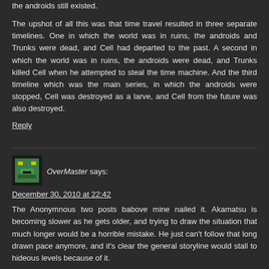the androids still existed.
The upshot of all this was that time travel resulted in three separate timelines. One in which the world was in ruins, the androids and Trunks were dead, and Cell had departed to the past. A second in which the world was in ruins, the androids were dead, and Trunks killed Cell when he attempted to steal the time machine. And the third timeline which was the main series, in which the androids were stopped, Cell was destroyed as a larve, and Cell from the future was also destroyed.
Reply
[Figure (illustration): Pixel art avatar icon with green and yellow colors on dark background]
OverMaster says:
December 30, 2010 at 22:42
The Anonymnous two posts babove mine nailed it. Akamatsu is becoming slower as he gets older, and trying to draw the situation that much longer would be a horrible mistake. He just can't follow that long drawn pace anymore, and it's clear the general storyline would stall to hideous levels because of it.
ANB- The proper payoff for all of Ala Alba's efforts would be exactly PREVENTING the bad future Chao hails from. If they fail at it, pretty much the overall general point of the series is